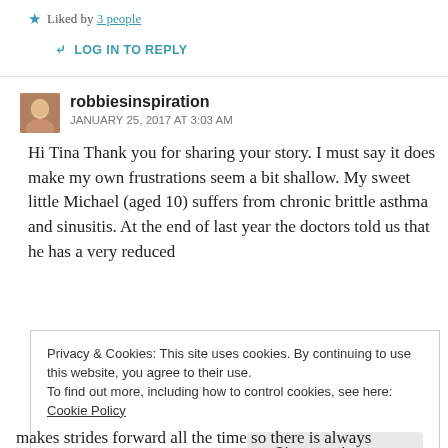★ Liked by 3 people
↪ LOG IN TO REPLY
robbiesinspiration
JANUARY 25, 2017 AT 3:03 AM
Hi Tina Thank you for sharing your story. I must say it does make my own frustrations seem a bit shallow. My sweet little Michael (aged 10) suffers from chronic brittle asthma and sinusitis. At the end of last year the doctors told us that he has a very reduced
Privacy & Cookies: This site uses cookies. By continuing to use this website, you agree to their use.
To find out more, including how to control cookies, see here: Cookie Policy
Close and accept
makes strides forward all the time so there is always